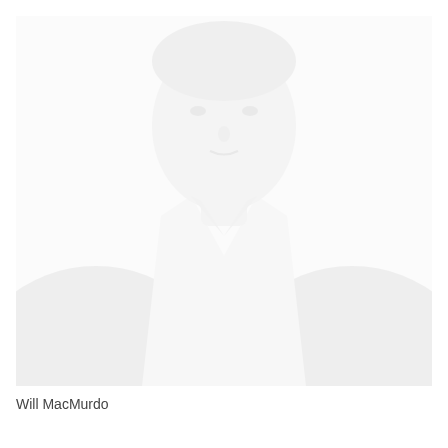[Figure (photo): A very faded/washed-out portrait photograph of a person in a dark suit jacket with a white shirt, face visible but extremely light/overexposed.]
Will MacMurdo